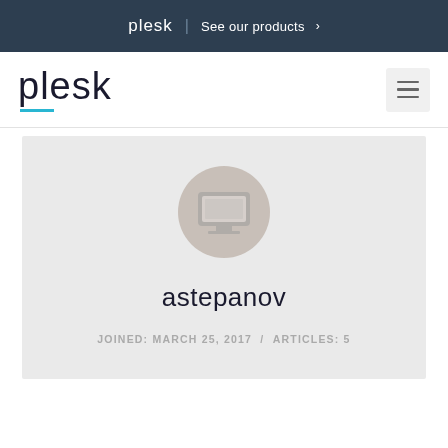plesk | See our products >
[Figure (logo): Plesk logo with hamburger menu icon in main navigation bar]
[Figure (illustration): Gray profile avatar circle with generic user icon]
astepanov
JOINED: MARCH 25, 2017 / ARTICLES: 5